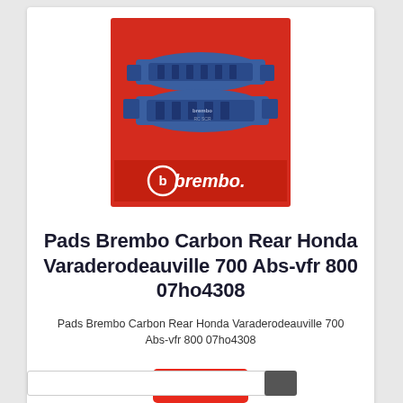[Figure (photo): Brembo brake pads product photo on red Brembo branded packaging background. Shows two brake pad sets with blue metallic backing. Brembo logo (red circle B symbol and 'brembo.' text in red) visible at bottom of packaging.]
Pads Brembo Carbon Rear Honda Varaderodeauville 700 Abs-vfr 800 07ho4308
Pads Brembo Carbon Rear Honda Varaderodeauville 700 Abs-vfr 800 07ho4308
$40.06